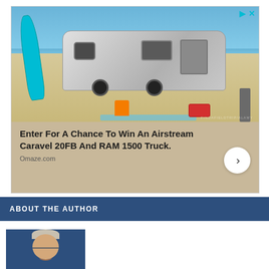[Figure (photo): Advertisement showing an Airstream Caravel trailer on a beach with a surfboard, orange chair, and red cooler. Text reads: Enter For A Chance To Win An Airstream Caravel 20FB And RAM 1500 Truck. Source: Omaze.com]
ABOUT THE AUTHOR
[Figure (photo): Photo of an older man with glasses, gray/white hair, smiling, on a blue background.]